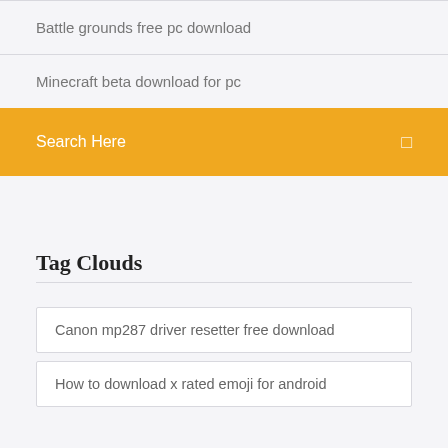Battle grounds free pc download
Minecraft beta download for pc
Search Here
Tag Clouds
Canon mp287 driver resetter free download
How to download x rated emoji for android